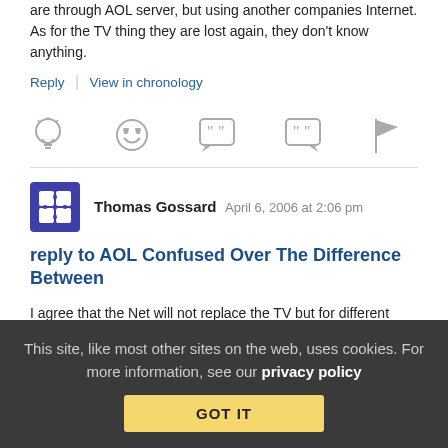are through AOL server, but using another companies Internet. As for the TV thing they are lost again, they don't know anything.
Reply | View in chronology
[Figure (infographic): Row of 5 reaction/action icons: lightbulb, laughing emoji, speech bubble with quotes, speech bubble with quotes, flag]
Thomas Gossard   April 6, 2006 at 2:06 pm
reply to AOL Confused Over The Difference Between
I agree that the Net will not replace the TV but for different
This site, like most other sites on the web, uses cookies. For more information, see our privacy policy
GOT IT